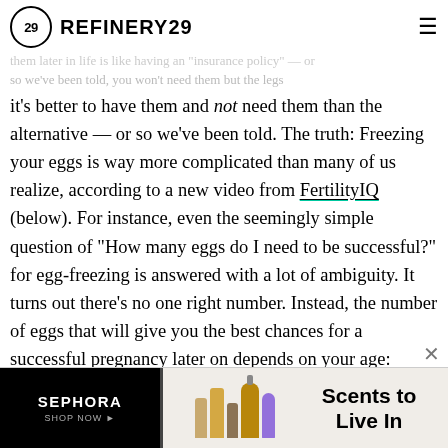REFINERY29
them later in life is like having an "insurance policy" — or so we've been told, according to a new video from FertilityIQ (below). it's better to have them and not need them than the alternative — or so we've been told. The truth: Freezing your eggs is way more complicated than many of us realize, according to a new video from FertilityIQ (below). For instance, even the seemingly simple question of "How many eggs do I need to be successful?" for egg-freezing is answered with a lot of ambiguity. It turns out there's no one right number. Instead, the number of eggs that will give you the best chances for a successful pregnancy later on depends on your age: Those who are freezing their eggs at a younger age probably don't need as many because their eggs will be of better quality. But those who are undergoing the process later should probably freeze more eggs in order to
[Figure (screenshot): Sephora advertisement banner: black left panel with SEPHORA SHOP NOW text, perfume bottles image, and 'Scents to Live In' text on right]